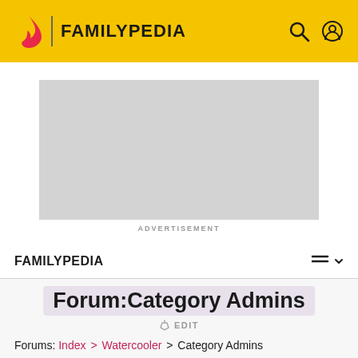FAMILYPEDIA
[Figure (screenshot): Advertisement placeholder - grey rectangle]
ADVERTISEMENT
FAMILYPEDIA
Forum:Category Admins
✏ EDIT
Forums: Index > Watercooler > Category Admins
[Figure (screenshot): Bottom advertisement placeholder - grey rectangle]